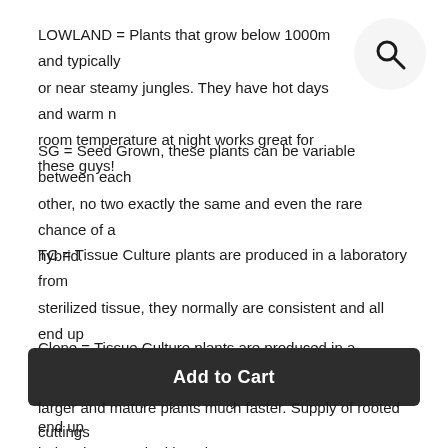LOWLAND = Plants that grow below 1000m and typically or near steamy jungles. They have hot days and warm nights, room temperature at night works great for these guys!
SG = Seed Grown, these plants can be variable between each other, no two exactly the same and even the rare chance of a hybrid.
TC = Tissue Culture plants are produced in a laboratory from sterilized tissue, they normally are consistent and all end up being the same looking plant.
Clone = Tissue Culture plants are produced in a laboratory from sterilized tissue, they normally are consistent and all end up being the same looking plant.
Add to Cart
larger and mature plants much faster. Supply of rooted cuttings